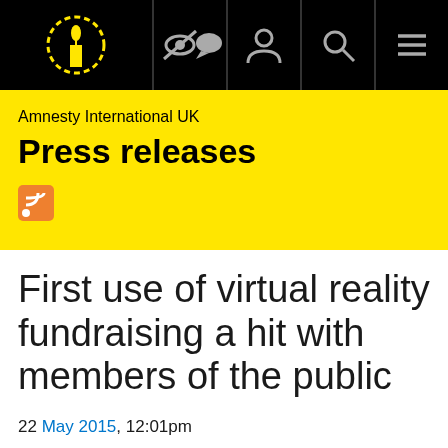[Figure (logo): Amnesty International candle logo in yellow on black background, navigation bar with icons for accessibility, user, search, and menu]
Amnesty International UK
Press releases
[Figure (other): RSS feed icon in orange]
First use of virtual reality fundraising a hit with members of the public
22 May 2015, 12:01pm